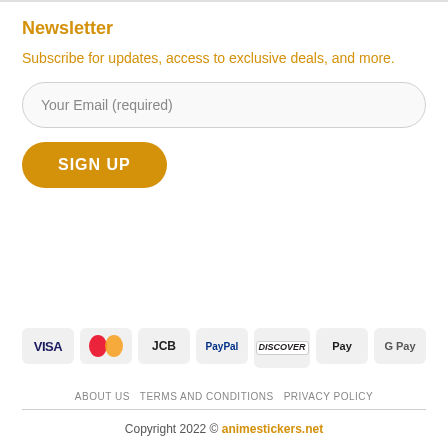Newsletter
Subscribe for updates, access to exclusive deals, and more.
[Figure (other): Email input field with placeholder 'Your Email (required)' and a SIGN UP button]
[Figure (other): Payment method icons: VISA, MasterCard, JCB, PayPal, Discover, Apple Pay, Google Pay]
ABOUT US  TERMS AND CONDITIONS  PRIVACY POLICY
Copyright 2022 © animestickers.net